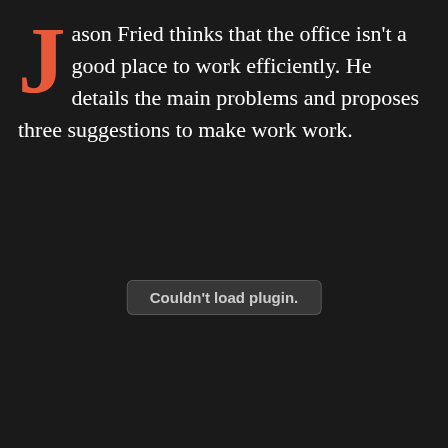Jason Fried thinks that the office isn't a good place to work efficiently. He details the main problems and proposes three suggestions to make work work.
[Figure (other): Embedded media plugin placeholder showing 'Couldn't load plugin.' message in a rounded rectangle box]